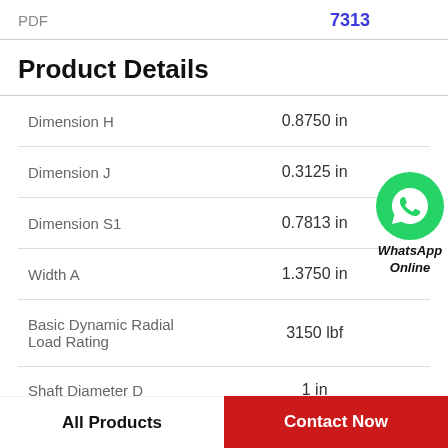PDF   7313
Product Details
| Property | Value |
| --- | --- |
| Dimension H | 0.8750 in |
| Dimension J | 0.3125 in |
| Dimension S1 | 0.7813 in |
| Width A | 1.3750 in |
| Basic Dynamic Radial Load Rating | 3150 lbf |
| Shaft Diameter D | 1 in |
[Figure (logo): WhatsApp Online button with green WhatsApp logo icon and text 'WhatsApp Online']
All Products   Contact Now